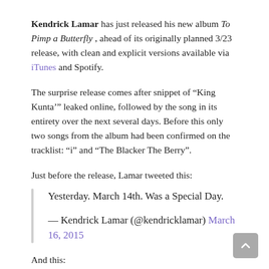Kendrick Lamar has just released his new album To Pimp a Butterfly , ahead of its originally planned 3/23 release, with clean and explicit versions available via iTunes and Spotify.
The surprise release comes after snippet of “King Kunta’” leaked online, followed by the song in its entirety over the next several days. Before this only two songs from the album had been confirmed on the tracklist: “i” and “The Blacker The Berry”.
Just before the release, Lamar tweeted this:
Yesterday. March 14th. Was a Special Day.
— Kendrick Lamar (@kendricklamar) March 16, 2015
And this:
20 yrs. Later. — Kendrick Lamar